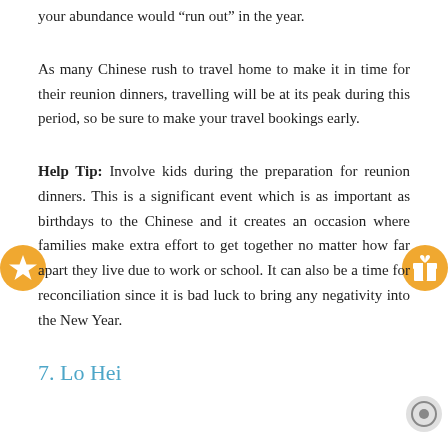your abundance would “run out” in the year.
As many Chinese rush to travel home to make it in time for their reunion dinners, travelling will be at its peak during this period, so be sure to make your travel bookings early.
Help Tip: Involve kids during the preparation for reunion dinners. This is a significant event which is as important as birthdays to the Chinese and it creates an occasion where families make extra effort to get together no matter how far apart they live due to work or school. It can also be a time for reconciliation since it is bad luck to bring any negativity into the New Year.
7. Lo Hei